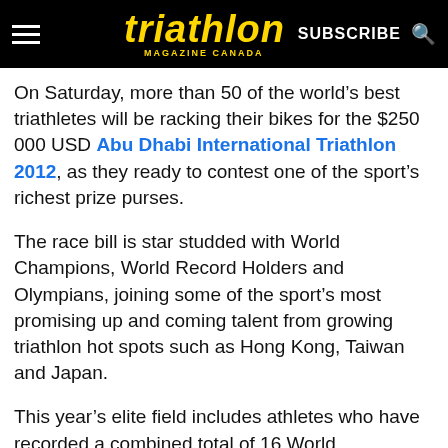triathlon MAGAZINE CANADA — SUBSCRIBE
On Saturday, more than 50 of the world's best triathletes will be racking their bikes for the $250 000 USD Abu Dhabi International Triathlon 2012, as they ready to contest one of the sport's richest prize purses.
The race bill is star studded with World Champions, World Record Holders and Olympians, joining some of the sport's most promising up and coming talent from growing triathlon hot spots such as Hong Kong, Taiwan and Japan.
This year's elite field includes athletes who have recorded a combined total of 16 World Championship titles, 47 European titles, 102 national titles and 76 Ironman wins, plus more than 500 podium places between them – suggesting the strongest line-up in the March 3rd event's history.